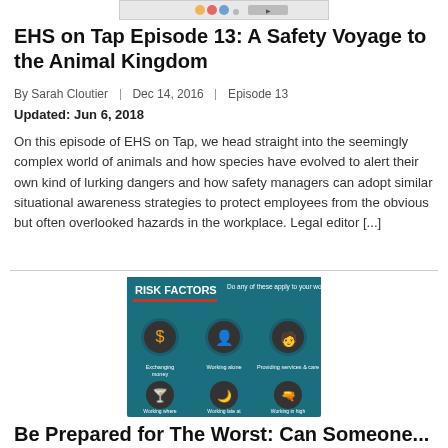[Figure (other): Small banner advertisement image at top of page]
EHS on Tap Episode 13: A Safety Voyage to the Animal Kingdom
By Sarah Cloutier | Dec 14, 2016 | Episode 13
Updated: Jun 6, 2018
On this episode of EHS on Tap, we head straight into the seemingly complex world of animals and how species have evolved to alert their own kind of lurking dangers and how safety managers can adopt similar situational awareness strategies to protect employees from the obvious but often overlooked hazards in the workplace. Legal editor [...]
[Figure (infographic): Risk factors infographic with teal background showing 6 icons: Exchanging money, Working alone, Providing services & care, Working where alcohol is served, Working late at night, Working in high crime areas. Header reads RISK FACTORS and 'Do any of these apply to your workers?']
Be Prepared for The Worst: Can Someone...